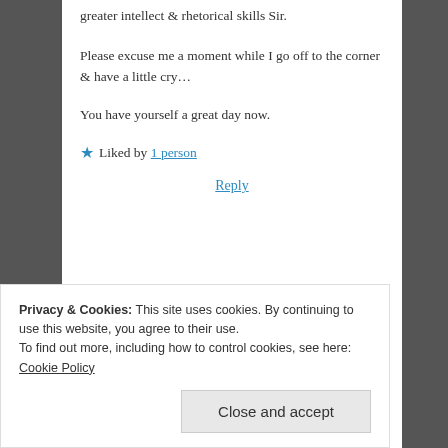greater intellect & rhetorical skills Sir.
Please excuse me a moment while I go off to the corner & have a little cry…
You have yourself a great day now.
★ Liked by 1 person
Reply
[Figure (infographic): Colorful banner ad for Fandom on Tumblr with orange-to-purple gradient background and white text reading FANDOM ON tumblr]
Privacy & Cookies: This site uses cookies. By continuing to use this website, you agree to their use.
To find out more, including how to control cookies, see here: Cookie Policy
Close and accept